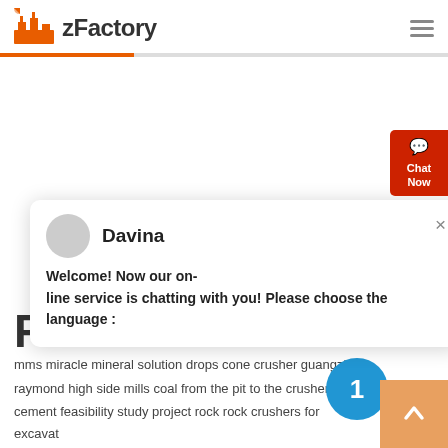zFactory
[Figure (screenshot): Chat popup with agent Davina saying: Welcome! Now our on-line service is chatting with you! Please choose the language :]
[Figure (other): Chat Now red button on right side]
[Figure (other): Blue circle badge with number 1]
[Figure (other): Orange scroll-up arrow button bottom right]
mms miracle mineral solution drops cone crusher guangzhou
raymond high side mills coal from the pit to the crusher
cement feasibility study project rock rock crushers for excavat...
ore dressing ore mesin ball mill coklat crushed rock for concrete use
crusher for stone to be mining crusher cost in india
how to reduce cement mill residue panning crushed gold ore
asphalt asphalt johannesburg south africa
machine of working of ball mill pressure powder mill